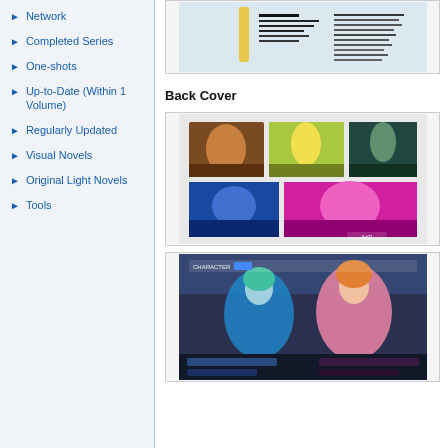Network
Completed Series
One-shots
Up-to-Date (Within 1 Volume)
Regularly Updated
Visual Novels
Original Light Novels
Tools
[Figure (illustration): Manga/book back cover image with dark vertical text on light background]
Back Cover
[Figure (illustration): Anime-style character collage with multiple colored panels showing different characters]
[Figure (illustration): Visual novel screenshot showing character selection screen with two anime characters]